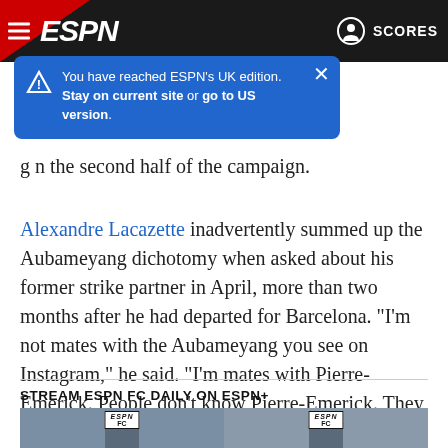ESPN — SCORES
[Figure (screenshot): Blue ESPN notification bubble: 'You have reached ESPN's UK edition. Stay on current site or go to US version.']
g... in the second half of the campaign.
Alexandre Lacazette inadvertently summed up the Aubameyang dichotomy when asked about his former strike partner in April, more than two months after he had departed for Barcelona. "I'm not mates with the Aubameyang you see on Instagram," he said. "I'm mates with Pierre-Emerick. People don't know Pierre-Emerick. They know Aubameyang."
STREAM ESPN FC DAILY ON ESPN+
[Figure (photo): ESPN FC studio preview image showing presenters in front of ESPN FC signage]